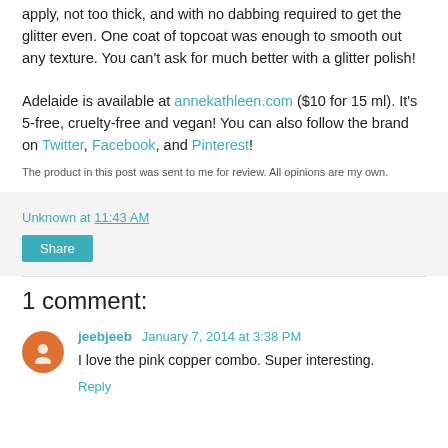apply, not too thick, and with no dabbing required to get the glitter even. One coat of topcoat was enough to smooth out any texture. You can't ask for much better with a glitter polish!
Adelaide is available at annekathleen.com ($10 for 15 ml). It's 5-free, cruelty-free and vegan! You can also follow the brand on Twitter, Facebook, and Pinterest!
The product in this post was sent to me for review. All opinions are my own.
Unknown at 11:43 AM
Share
1 comment:
jeebjeeb January 7, 2014 at 3:38 PM
I love the pink copper combo. Super interesting.
Reply